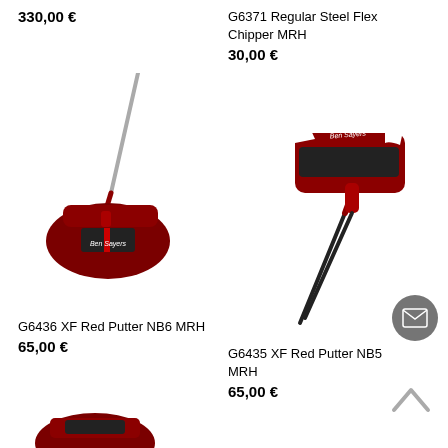330,00 €
G6371 Regular Steel Flex Chipper MRH
30,00 €
[Figure (photo): Ben Sayers red mallet putter NB6, viewed from above, with dark red head and black face insert, silver shaft]
[Figure (photo): Ben Sayers red blade putter NB5 viewed from above/side, red head with black insert and logo, dark red shaft]
G6436 XF Red Putter NB6 MRH
65,00 €
G6435 XF Red Putter NB5 MRH
65,00 €
[Figure (photo): Partial view of a red golf club head at the bottom of the page]